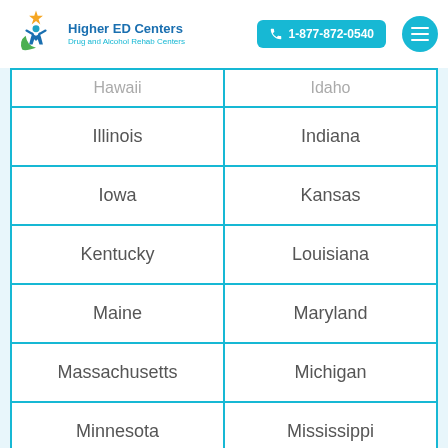Higher ED Centers - Drug and Alcohol Rehab Centers | 1-877-872-0540
| State 1 | State 2 |
| --- | --- |
| Hawaii | Idaho |
| Illinois | Indiana |
| Iowa | Kansas |
| Kentucky | Louisiana |
| Maine | Maryland |
| Massachusetts | Michigan |
| Minnesota | Mississippi |